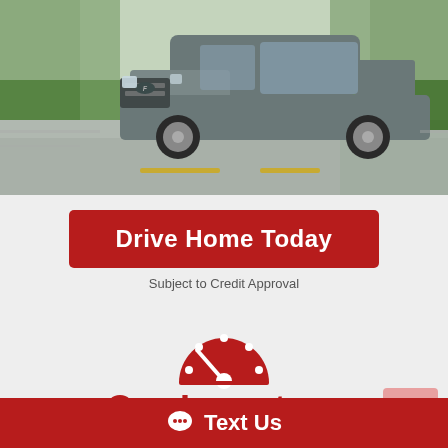[Figure (photo): A grey Ford F-150 pickup truck driving on a road with blurred green trees in the background, motion blur effect visible.]
Drive Home Today
Subject to Credit Approval
[Figure (illustration): Red speedometer / dashboard gauge icon]
Our Inventory
View our inventory from Superior Motors of Atlanta in
Text Us